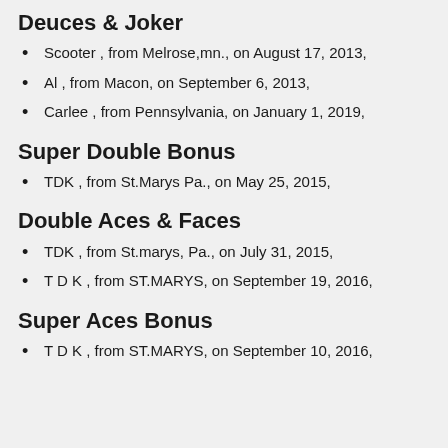Deuces & Joker
Scooter , from Melrose,mn., on August 17, 2013,
Al , from Macon, on September 6, 2013,
Carlee , from Pennsylvania, on January 1, 2019,
Super Double Bonus
TDK , from St.Marys Pa., on May 25, 2015,
Double Aces & Faces
TDK , from St.marys, Pa., on July 31, 2015,
T D K , from ST.MARYS, on September 19, 2016,
Super Aces Bonus
T D K , from ST.MARYS, on September 10, 2016,